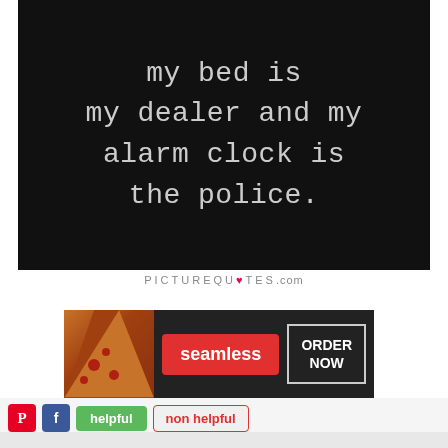[Figure (illustration): Black background image with white/gray typewriter-style text reading: 'my bed is my dealer and my alarm clock is the police.']
PICTUREQUOTES.com
[Figure (infographic): Seamless food delivery advertisement banner with pizza image on left, red Seamless button in center, and ORDER NOW box on right.]
helpful   non helpful
Related